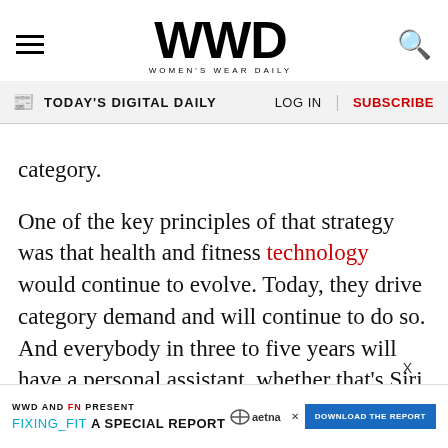WWD WOMEN'S WEAR DAILY — Today's Digital Daily | LOG IN | SUBSCRIBE
category.
One of the key principles of that strategy was that health and fitness technology would continue to evolve. Today, they drive category demand and will continue to do so. And everybody in three to five years will have a personal assistant, whether that's Siri or Google Assistant or others.
We just believe that Google has such deep technology experience and expertise, and has a roadmap for this technology, that we felt like we
[Figure (other): WWD and FN present: FIXING_FIT A SPECIAL REPORT advertisement banner with Aetna logo and Download the Report button]